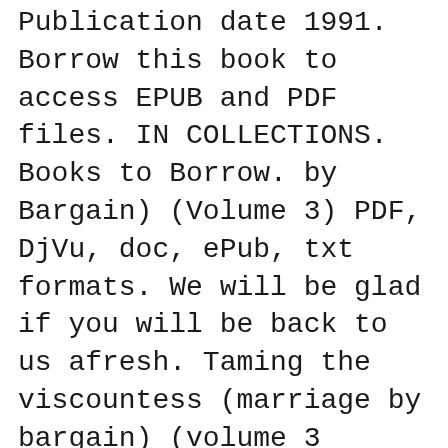Publication date 1991. Borrow this book to access EPUB and PDF files. IN COLLECTIONS. Books to Borrow. by Bargain) (Volume 3) PDF, DjVu, doc, ePub, txt formats. We will be glad if you will be back to us afresh. Taming the viscountess (marriage by bargain) (volume 3
Dallas Schulze Biography - - Dallas Schulze Biography and List of Works - Dallas Schulze Books Malaysia Used Romance Books for Sale, The baby bargain by Dallas Schulze. Romance A wonderful ebook is for sale. Romance
Find nearly any book by Dallas Schulze (DALLAS SCHULZE) used books, rare